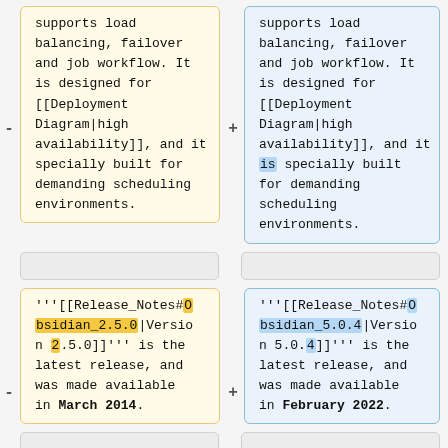- [yellow box] supports load balancing, failover and job workflow. It is designed for [[Deployment Diagram|high availability]], and it specially built for demanding scheduling environments.
+ [blue box] supports load balancing, failover and job workflow. It is designed for [[Deployment Diagram|high availability]], and it is specially built for demanding scheduling environments.
- [yellow box] '''[[Release_Notes#Obsidian_2.5.0|Version 2.5.0]]''' is the latest release, and was made available in March 2014.
+ [blue box] '''[[Release_Notes#Obsidian_5.0.4|Version 5.0.4]]''' is the latest release, and was made available in February 2022.